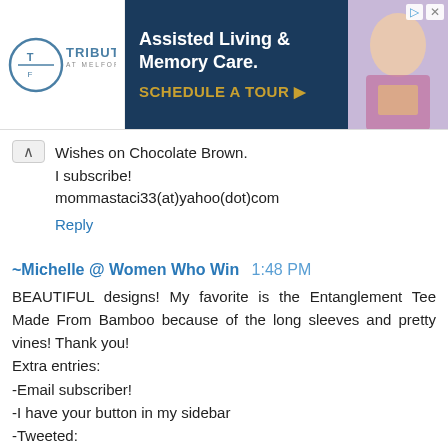[Figure (other): Advertisement banner for Tribute At Melford Assisted Living & Memory Care with a Schedule A Tour call to action.]
Wishes on Chocolate Brown.
I subscribe!
mommastaci33(at)yahoo(dot)com
Reply
~Michelle @ Women Who Win  1:48 PM
BEAUTIFUL designs! My favorite is the Entanglement Tee Made From Bamboo because of the long sleeves and pretty vines! Thank you!
Extra entries:
-Email subscriber!
-I have your button in my sidebar
-Tweeted:
http://twitter.com/sweepstakesgirl/status/1552106203.
--Michelle, blogattoday (~!at- gmaildotcom
Reply